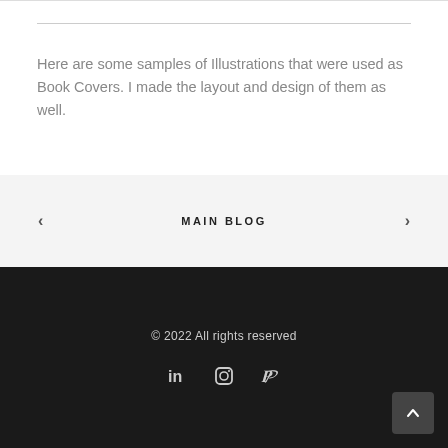Here are some samples of Illustrations that were used as Book Covers. I made the layout and design of them as well.
MAIN BLOG
© 2022 All rights reserved